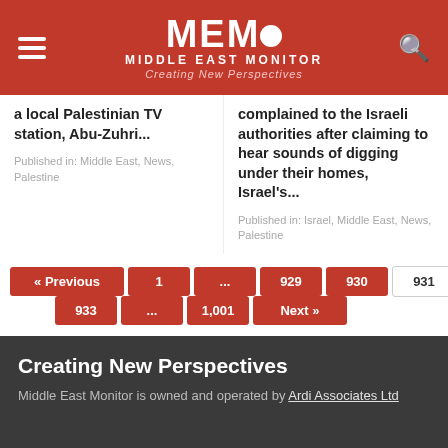MEMO MIDDLE EAST MONITOR - Creating New Perspectives
a local Palestinian TV station, Abu-Zuhri...
Published in: Middle East, News, Palestine
complained to the Israeli authorities after claiming to hear sounds of digging under their homes, Israel's...
Published in: Israel, Middle East, News, Palestine
« Previous  1  ...  929  930  931  932  933  ...  1,001  Next »
Creating New Perspectives
Middle East Monitor is owned and operated by Ardi Associates Ltd